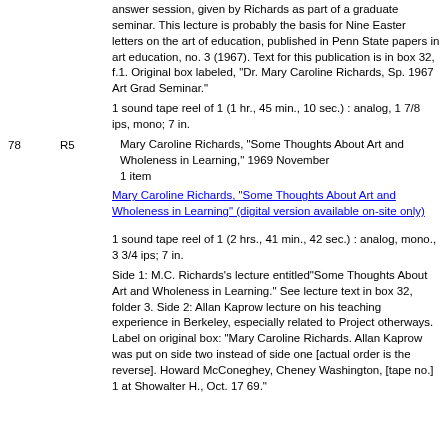answer session, given by Richards as part of a graduate seminar. This lecture is probably the basis for Nine Easter letters on the art of education, published in Penn State papers in art education, no. 3 (1967). Text for this publication is in box 32, f.1. Original box labeled, "Dr. Mary Caroline Richards, Sp. 1967 Art Grad Seminar."
1 sound tape reel of 1 (1 hr., 45 min., 10 sec.) : analog, 1 7/8 ips, mono; 7 in.
78    R5    Mary Caroline Richards, "Some Thoughts About Art and Wholeness in Learning," 1969 November
1 item
Mary Caroline Richards, "Some Thoughts About Art and Wholeness in Learning" (digital version available on-site only)
1 sound tape reel of 1 (2 hrs., 41 min., 42 sec.) : analog, mono., 3 3/4 ips; 7 in.
Side 1: M.C. Richards's lecture entitled"Some Thoughts About Art and Wholeness in Learning." See lecture text in box 32, folder 3. Side 2: Allan Kaprow lecture on his teaching experience in Berkeley, especially related to Project otherways. Label on original box: "Mary Caroline Richards. Allan Kaprow was put on side two instead of side one [actual order is the reverse]. Howard McConeghey, Cheney Washington, [tape no.] 1 at Showalter H., Oct. 17 69."